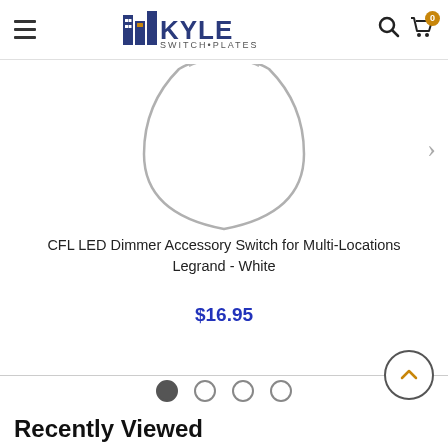Kyle Switch Plates - navigation header with logo, search, and cart
[Figure (screenshot): Partial circular product image of CFL LED Dimmer Accessory Switch - white device on white background, with right chevron navigation arrow]
CFL LED Dimmer Accessory Switch for Multi-Locations Legrand - White
$16.95
[Figure (other): Carousel navigation dots - 4 dots, first filled/active, three empty]
Recently Viewed